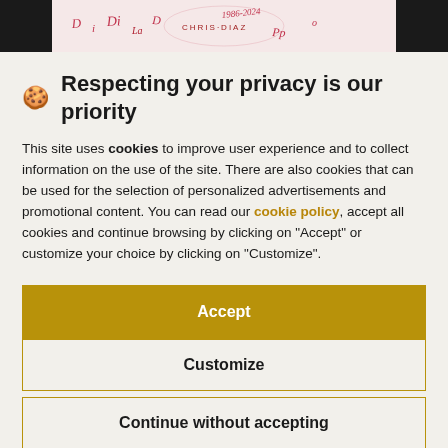[Figure (illustration): Partial website header showing black side panels and a decorative center image with hand-drawn style text/illustration in red and pink tones]
🍪 Respecting your privacy is our priority
This site uses cookies to improve user experience and to collect information on the use of the site. There are also cookies that can be used for the selection of personalized advertisements and promotional content. You can read our cookie policy, accept all cookies and continue browsing by clicking on "Accept" or customize your choice by clicking on "Customize".
Accept
Customize
Continue without accepting